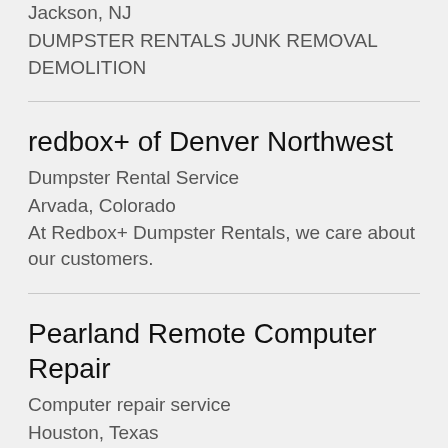Jackson, NJ
DUMPSTER RENTALS JUNK REMOVAL
DEMOLITION
redbox+ of Denver Northwest
Dumpster Rental Service
Arvada, Colorado
At Redbox+ Dumpster Rentals, we care about our customers.
Pearland Remote Computer Repair
Computer repair service
Houston, Texas